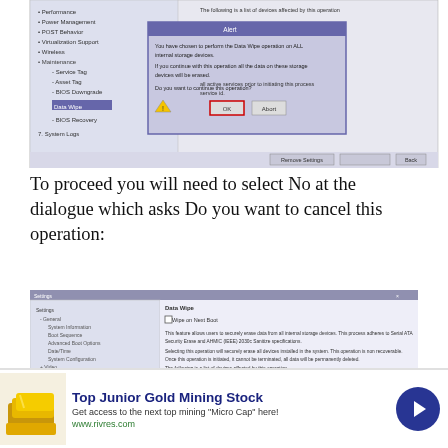[Figure (screenshot): Screenshot of Dell BIOS utility showing a Data Wipe dialog box with OK and Abort buttons, menu on left side showing Settings options, warning message about erasing all data on storage devices.]
To proceed you will need to select No at the dialogue which asks Do you want to cancel this operation:
[Figure (screenshot): Screenshot of Dell BIOS Settings page showing Data Wipe section with 'Wipe on Next Boot' checkbox and explanatory text about securely erasing data from internal storage devices.]
Privacy & Cookies: This site uses cookies. By continuing to use this website, you agree to their use.
To find out more, including how to control cookies, see here: Cookie Policy
[Figure (infographic): Advertisement banner for Top Junior Gold Mining Stock with gold bar image, text 'Get access to the next top mining Micro Cap here!' and www.rivres.com URL, with arrow button.]